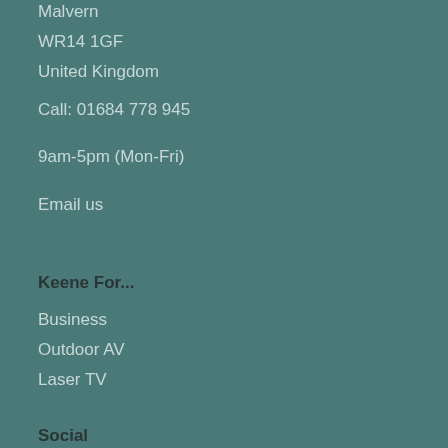Malvern
WR14 1GF
United Kingdom
Call: 01684 778 945
9am-5pm (Mon-Fri)
Email us
Keene For...
Business
Outdoor AV
Laser TV
Social